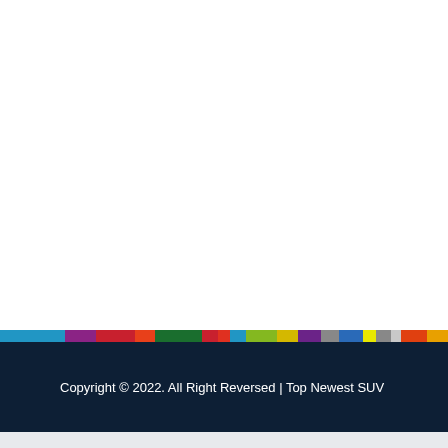Copyright © 2022. All Right Reversed | Top Newest SUV